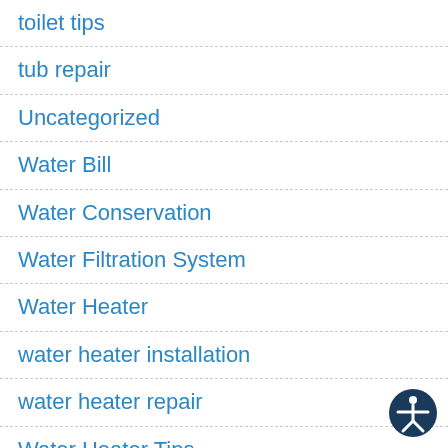toilet tips
tub repair
Uncategorized
Water Bill
Water Conservation
Water Filtration System
Water Heater
water heater installation
water heater repair
Water Heater Tips
water leak